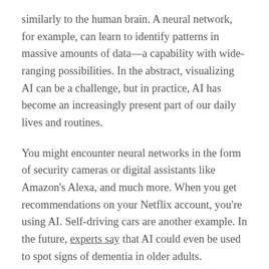similarly to the human brain. A neural network, for example, can learn to identify patterns in massive amounts of data—a capability with wide-ranging possibilities. In the abstract, visualizing AI can be a challenge, but in practice, AI has become an increasingly present part of our daily lives and routines.
You might encounter neural networks in the form of security cameras or digital assistants like Amazon's Alexa, and much more. When you get recommendations on your Netflix account, you're using AI. Self-driving cars are another example. In the future, experts say that AI could even be used to spot signs of dementia in older adults.